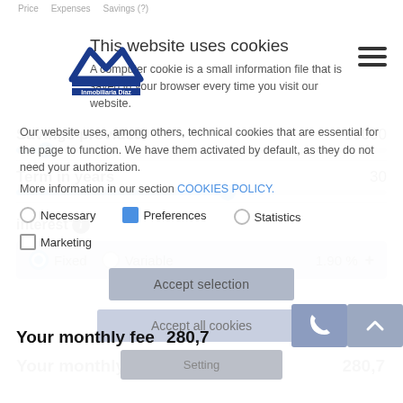Price   Expenses   Savings (?)
[Figure (logo): Inmobiliaria Diaz logo with blue M-shaped roof icon]
This website uses cookies
A computer cookie is a small information file that is saved in your browser every time you visit our website.
Savings provided
Our website uses, among others, technical cookies that are essential for the page to function. We have them activated by default, as they do not need your authorization.
Term in years
More information in our section COOKIES POLICY.
Necessary   Preferences   Statistics   Marketing
interest ⓘ
Fixed   Variable   1.90 %
Accept selection
Accept all cookies
Your monthly fee   280,7
Setting